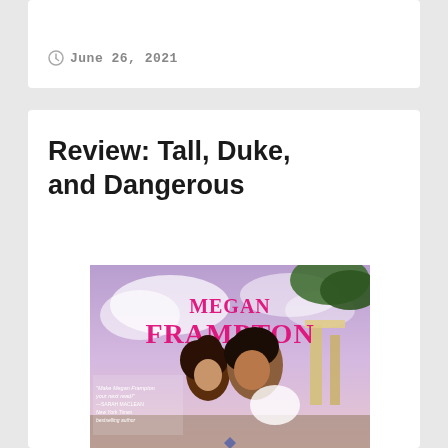June 26, 2021
Review: Tall, Duke, and Dangerous
[Figure (photo): Book cover of 'Tall, Duke, and Dangerous' by Megan Frampton. Shows a romantic couple — a woman with dark curly hair and a shirtless dark-haired man about to kiss, set against a purple cloudy sky with a classical column structure. Pink decorative font reads 'MEGAN FRAMPTON'. A blurb reads: 'Make Megan Frampton your next read! —SARAH MACLEAN New York Times bestselling author']